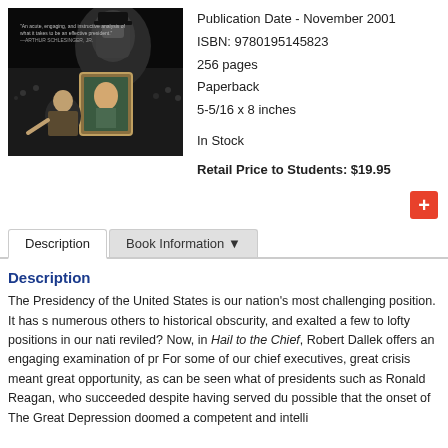[Figure (photo): Book cover image showing a historical photo montage with Abraham Lincoln and other figures against a dark background]
Publication Date - November 2001
ISBN: 9780195145823
256 pages
Paperback
5-5/16 x 8 inches
In Stock
Retail Price to Students: $19.95
Description
Book Information ▼
Description
The Presidency of the United States is our nation's most challenging position. It has s numerous others to historical obscurity, and exalted a few to lofty positions in our nati reviled? Now, in Hail to the Chief, Robert Dallek offers an engaging examination of pr For some of our chief executives, great crisis meant great opportunity, as can be seen what of presidents such as Ronald Reagan, who succeeded despite having served du possible that the onset of The Great Depression doomed a competent and intelli